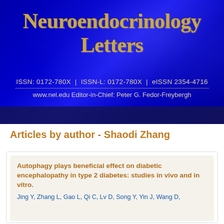Neuroendocrinology Letters
ISSN: 0172-780X | ISSN-L: 0172-780X | eISSN 2354-4716
www.nel.edu Editor-in-Chief: Peter G. Fedor-Freybergh
Articles by author - Shaodi Zhang
Autophagy plays beneficial effect on diabetic encephalopathy in type 2 diabetes: studies in vivo and in vitro.
Jing Y, Zhang L, Gao L, Qi C, Lv D, Song Y, Yin J, Wang D,